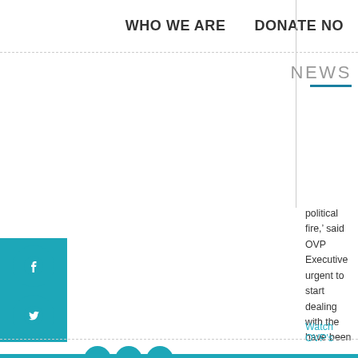WHO WE ARE    DONATE NO
NEWS
political fire,' said OVP Executive urgent to start dealing with the have been some serious setbacks national agenda adopted by the effort of the Palestinian leaders must: be matched by massive a Palestinians' national rights, uni agenda carried out by the PLO, peace agreement that preserv
Watch OVP's "The Land is Ours"
SHARE THIS